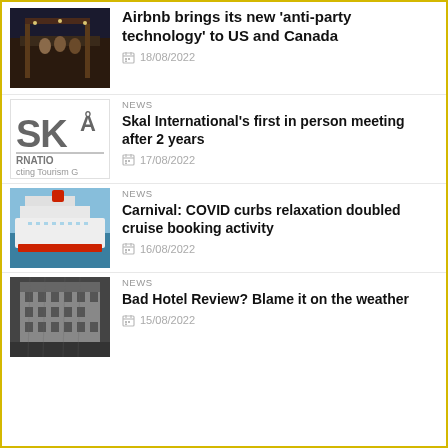[Figure (photo): Group of people at a party/gathering, nighttime outdoor scene]
Airbnb brings its new 'anti-party technology' to US and Canada
18/08/2022
[Figure (logo): Skal International logo - SKA with partial text RNATIO and 'cting Tourism G']
NEWS
Skal International's first in person meeting after 2 years
17/08/2022
[Figure (photo): Carnival cruise ship at sea]
NEWS
Carnival: COVID curbs relaxation doubled cruise booking activity
16/08/2022
[Figure (photo): Black and white photo of a historic hotel building]
NEWS
Bad Hotel Review? Blame it on the weather
15/08/2022